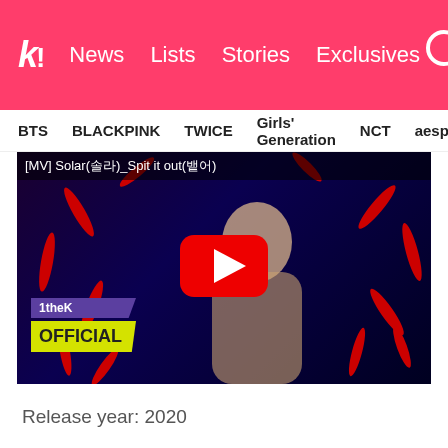k! News Lists Stories Exclusives
BTS BLACKPINK TWICE Girls' Generation NCT aespa
[Figure (screenshot): YouTube video thumbnail for [MV] Solar(솔라)_Spit it out(뱉어) showing a blonde woman with red nails, 1theK Official branding, and YouTube play button overlay]
Release year: 2020
Number of copies sold: 85.0k